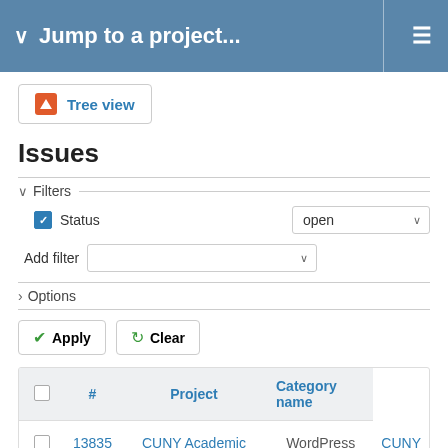Jump to a project...
[Figure (screenshot): Tree view button with orange warning icon]
Issues
Filters
Status: open
Add filter
Options
Apply   Clear
|  | # | Project | Category name |  |
| --- | --- | --- | --- | --- |
|  | 13835 | CUNY Academic Commons | WordPress (misc) | CUNY |